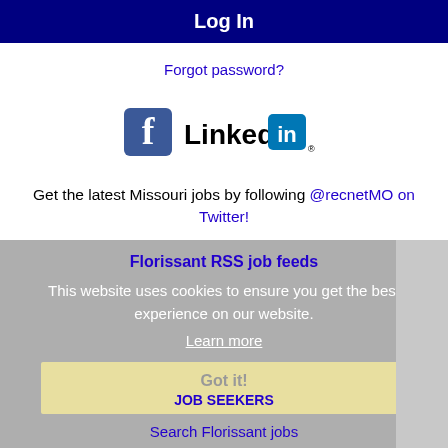Log In
Forgot password?
[Figure (logo): Facebook logo icon and LinkedIn logo icon side by side]
Get the latest Missouri jobs by following @recnetMO on Twitter!
Florissant RSS job feeds
This website uses cookies to ensure you get the best experience on our website.
Learn more
Got it!
JOB SEEKERS
Search Florissant jobs
Post...